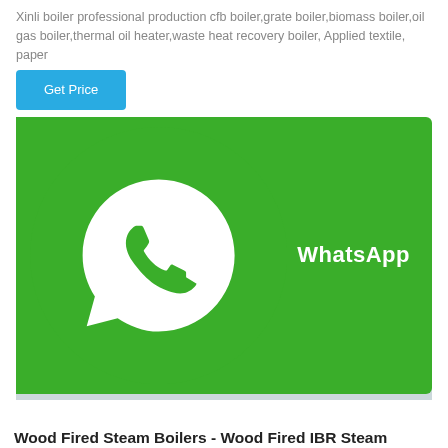Xinli boiler professional production cfb boiler,grate boiler,biomass boiler,oil gas boiler,thermal oil heater,waste heat recovery boiler, Applied textile, paper
Get Price
[Figure (photo): Industrial boiler room showing a large blue and silver horizontal pressure vessel/boiler with piping, gauges, and scaffolding inside a factory building. Chinese manufacturer logo visible on the boiler.]
WhatsApp
Wood Fired Steam Boilers - Wood Fired IBR Steam